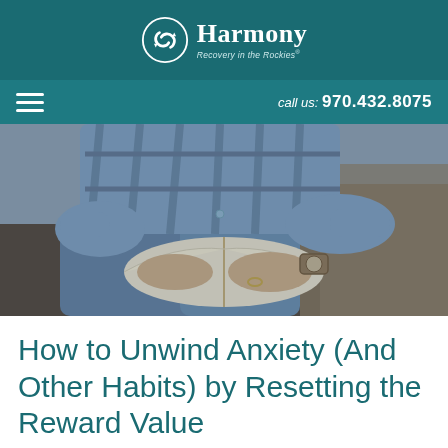Harmony Recovery in the Rockies
call us: 970.432.8075
[Figure (photo): Person sitting outdoors wearing a blue plaid shirt, holding an open book on their lap, wearing a watch and a ring on their hands.]
How to Unwind Anxiety (And Other Habits) by Resetting the Reward Value